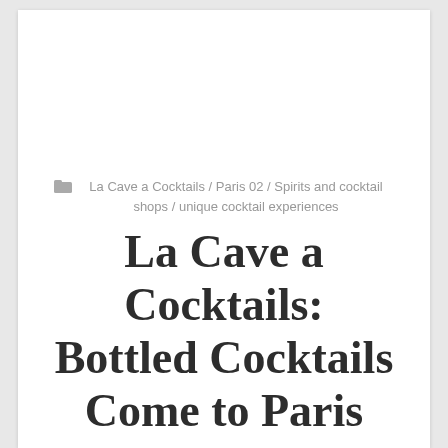La Cave a Cocktails / Paris 02 / Spirits and cocktail shops / unique cocktail experiences
La Cave a Cocktails: Bottled Cocktails Come to Paris